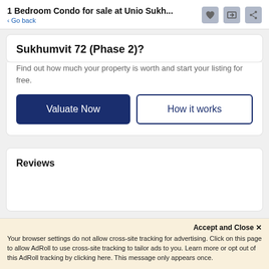1 Bedroom Condo for sale at Unio Sukh... < Go back
Sukhumvit 72 (Phase 2)?
Find out how much your property is worth and start your listing for free.
Reviews
Accept and Close ×
Your browser settings do not allow cross-site tracking for advertising. Click on this page to allow AdRoll to use cross-site tracking to tailor ads to you. Learn more or opt out of this AdRoll tracking by clicking here. This message only appears once.